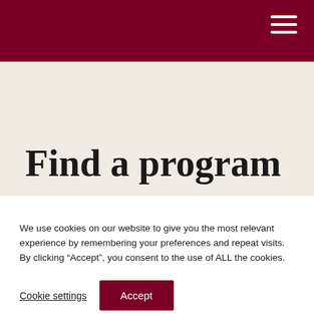Find a program
We use cookies on our website to give you the most relevant experience by remembering your preferences and repeat visits. By clicking “Accept”, you consent to the use of ALL the cookies.
Cookie settings  Accept